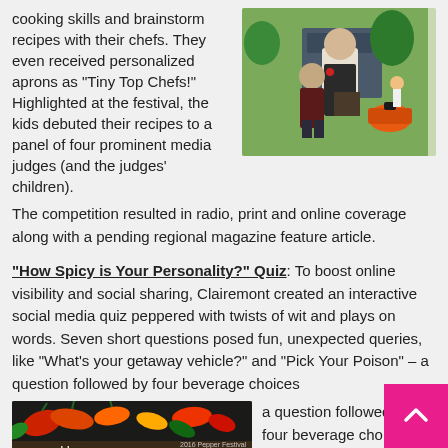cooking skills and brainstorm recipes with their chefs. They even received personalized aprons as “Tiny Top Chefs!” Highlighted at the festival, the kids debuted their recipes to a panel of four prominent media judges (and the judges’ children). The competition resulted in radio, print and online coverage along with a pending regional magazine feature article.
[Figure (photo): A chef in a dark apron standing with a child at an outdoor festival, with cooking equipment visible in the background.]
“How Spicy is Your Personality?” Quiz: To boost online visibility and social sharing, Clairemont created an interactive social media quiz peppered with twists of wit and plays on words. Seven short questions posed fun, unexpected queries, like “What’s your getaway vehicle?” and “Pick Your Poison” – a question followed by four beverage choices ranging from wine to milk. The
[Figure (photo): A dark background with colorful peppers and the text 'How SPICY Is Your Personality?' with '2016 Pepper Festival at Briar Chapel' branding.]